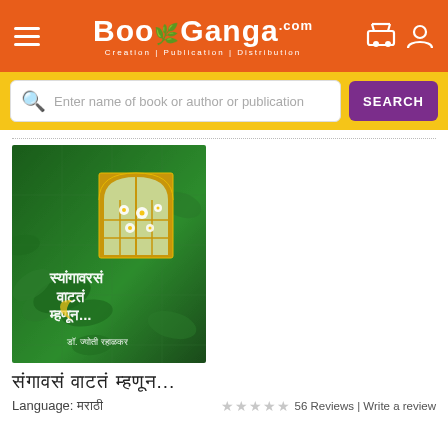BooGanga.com — Creation | Publication | Distribution
Enter name of book or author or publication — SEARCH
[Figure (photo): Book cover of a Marathi book with a green background, golden arched window with white flowers, and Marathi script text with author name Dr. Jyoti Rahalkar]
संगावसं वाटतं म्हणून...
Language: मराठी   ☆☆☆☆☆ 56 Reviews | Write a review